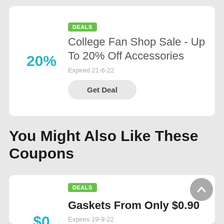20%
DEALS
College Fan Shop Sale - Up To 20% Off Accessories
Expired 21-6-22
Get Deal
You Might Also Like These Coupons
DEALS
Gaskets From Only $0.90
Expires 19-9-22
$0